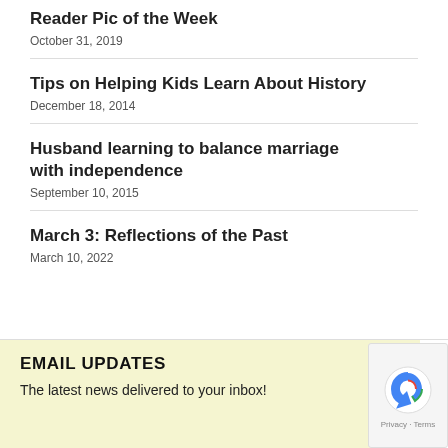Reader Pic of the Week
October 31, 2019
Tips on Helping Kids Learn About History
December 18, 2014
Husband learning to balance marriage with independence
September 10, 2015
March 3: Reflections of the Past
March 10, 2022
EMAIL UPDATES
The latest news delivered to your inbox!